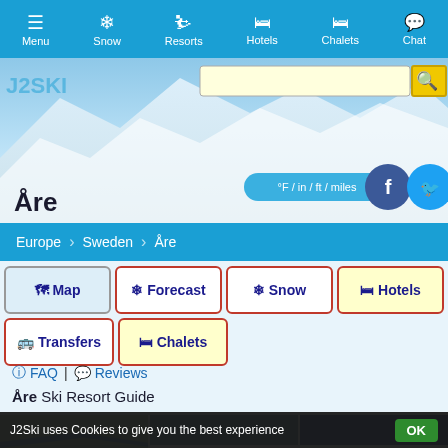Menu | Snow | Resorts | Hotels | Chalets | Chat
[Figure (screenshot): Hero image of snowy mountain resort - Åre, with search bar, unit toggle button, Facebook and Twitter social icons]
Europe > Sweden > Åre
Map
Forecast
Snow
Hotels
Transfers
Chalets
FAQ | Reviews
Åre Ski Resort Guide
[Figure (photo): Map card showing Åre area map]
[Figure (photo): Villa card - Edvinsväg 8, 3-star rating]
[Figure (photo): Hotel card - Åregården, 4-star rating]
J2Ski uses Cookies to give you the best experience  OK